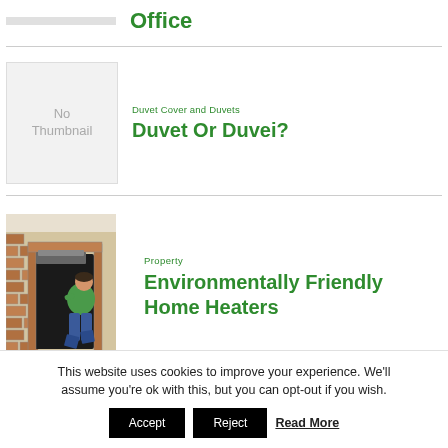Office
[Figure (illustration): No Thumbnail placeholder image for Duvet Or Duvei article]
Duvet Cover and Duvets
Duvet Or Duvei?
[Figure (photo): Photo of a worker in green shirt installing or working on a brick fireplace/heater]
Property
Environmentally Friendly Home Heaters
This website uses cookies to improve your experience. We'll assume you're ok with this, but you can opt-out if you wish.
Accept
Reject
Read More